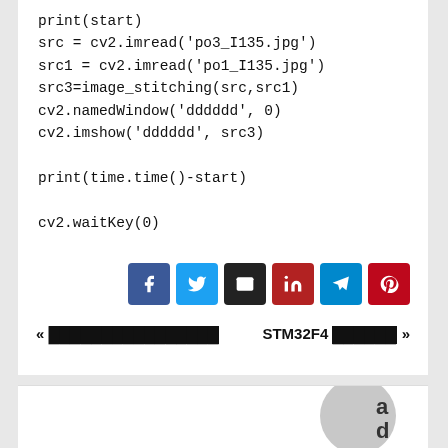print(start)
src = cv2.imread('po3_I135.jpg')
src1 = cv2.imread('po1_I135.jpg')
src3=image_stitching(src,src1)
cv2.namedWindow('dddddd', 0)
cv2.imshow('dddddd', src3)

print(time.time()-start)

cv2.waitKey(0)
[Figure (infographic): Social share buttons: Facebook (blue), Twitter (light blue), Email (black), LinkedIn (dark red), Telegram (blue), Pinterest (red)]
« XXXXXXXXXXXXXXXX    STM32F4 XXXXXX »
[Figure (illustration): Partial view of an author avatar (grey circle/letter icon) with letters 'a' and 'd' visible]